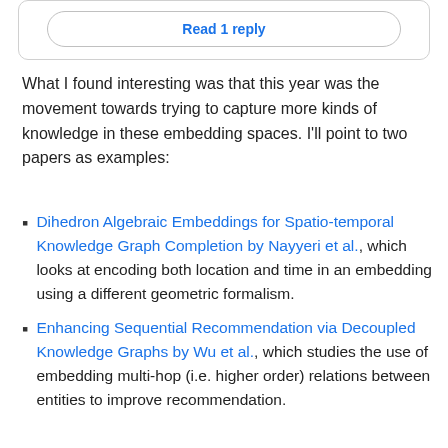[Figure (screenshot): Read 1 reply button inside a rounded box]
What I found interesting was that this year was the movement towards trying to capture more kinds of knowledge in these embedding spaces. I'll point to two papers as examples:
Dihedron Algebraic Embeddings for Spatio-temporal Knowledge Graph Completion by Nayyeri et al., which looks at encoding both location and time in an embedding using a different geometric formalism.
Enhancing Sequential Recommendation via Decoupled Knowledge Graphs by Wu et al., which studies the use of embedding multi-hop (i.e. higher order) relations between entities to improve recommendation.